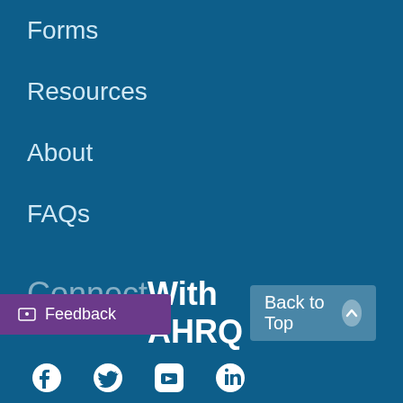Forms
Resources
About
FAQs
Contact PSO
PSO Login
Connect With AHRQ
Back to Top